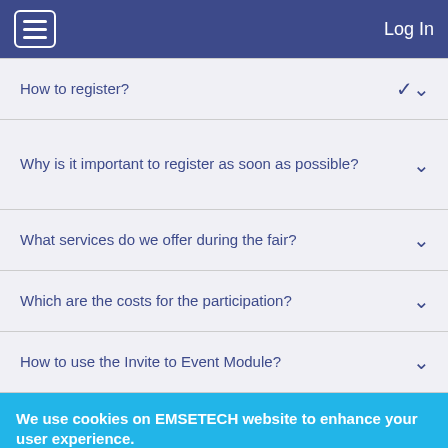Log In
How to register?
Why is it important to register as soon as possible?
What services do we offer during the fair?
Which are the costs for the participation?
How to use the Invite to Event Module?
We use cookies on EMSETECH website to enhance your user experience.
By using our services, you consent to our use of cookies.
OK, I agree    No, give me more info